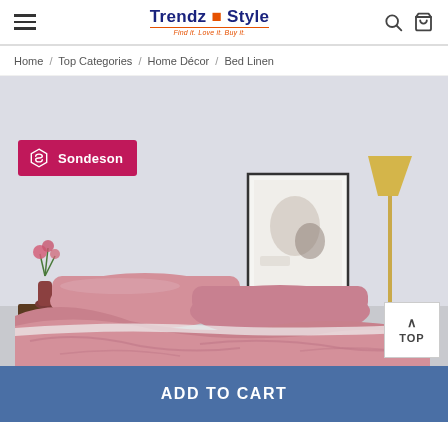Trendz & Style — Find it. Love it. Buy it.
Home / Top Categories / Home Décor / Bed Linen
[Figure (photo): A bedroom scene with pink silk bed linen, pillows, a small table with a vase of flowers, a framed artwork, and a gold floor lamp. Sondeson brand badge in upper left. 'TOP' scroll button in lower right.]
ADD TO CART